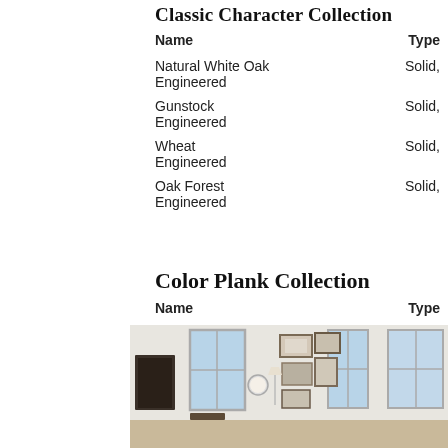Classic Character Collection
| Name | Type |
| --- | --- |
| Natural White Oak | Solid, |
| Engineered |  |
| Gunstock | Solid, |
| Engineered |  |
| Wheat | Solid, |
| Engineered |  |
| Oak Forest | Solid, |
| Engineered |  |
Color Plank Collection
| Name | Type |
| --- | --- |
[Figure (photo): Interior room scene with white walls, large windows, framed artwork gallery wall, and modern furnishings]